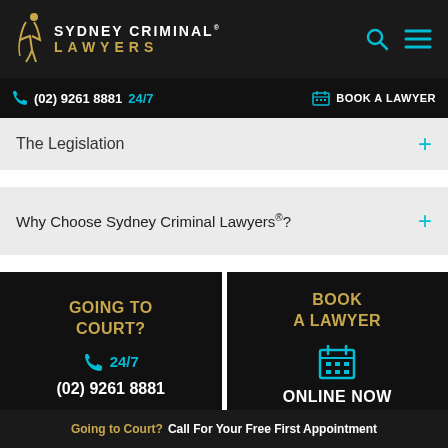[Figure (logo): Sydney Criminal Lawyers logo with gold figure and text]
(02) 9261 8881 24/7  BOOK A LAWYER
The Legislation +
Why Choose Sydney Criminal Lawyers®? +
[Figure (infographic): Going to Court? 24/7 (02) 9261 8881 call to action box]
[Figure (infographic): Book A Lawyer Online Now call to action box]
Going to Court? Call For Your Free First Appointment